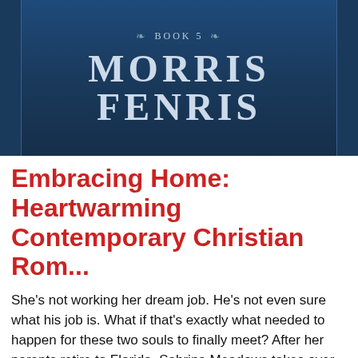[Figure (illustration): Book cover image showing 'BOOK 5' text with ornamental flourishes and 'MORRIS FENRIS' in large bold serif letters on a dark navy blue background]
Embracing Home: Heartwarming Contemporary Christian Rom...
She's not working her dream job. He's not even sure what his job is. What if that's exactly what needed to happen for these two souls to finally meet? After her parents retire to Florida, Sabrina Meadows takes over the family motel in Rocky Ridge where she grew up. It's not her dream job, but what else is a dutiful daughter to do? At least